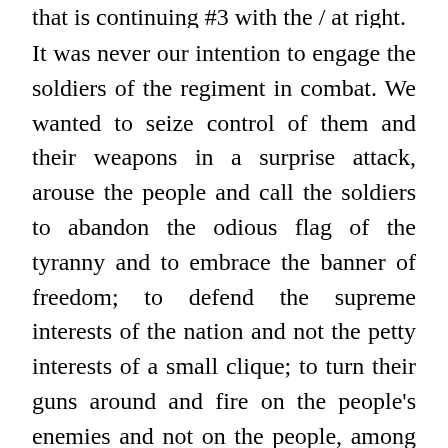that is continuing #3 with the / at right.
It was never our intention to engage the soldiers of the regiment in combat. We wanted to seize control of them and their weapons in a surprise attack, arouse the people and call the soldiers to abandon the odious flag of the tyranny and to embrace the banner of freedom; to defend the supreme interests of the nation and not the petty interests of a small clique; to turn their guns around and fire on the people’s enemies and not on the people, among whom are their own sons and fathers; to unite with the people as the brothers that they are instead of